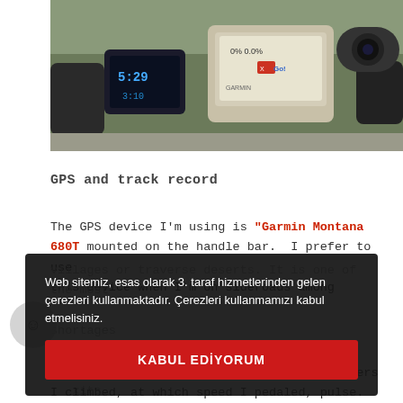[Figure (photo): Photo of bicycle handlebars with two GPS/cycling computers mounted on the bar, outdoors on a road surface]
GPS and track record
The GPS device I'm using is "Garmin Montana 680T mounted on the handle bar.  I prefer to use this device when I'm on sideroads among villages or traverse deserts. It is one of the most ... provision shortages during desert traverses ... exits. Furthermore ... track data as where and how many meters I climbed, at which speed I pedaled, pulse.
Web sitemiz, esas olarak 3. taraf hizmetlerinden gelen çerezleri kullanmaktadır. Çerezleri kullanmamızı kabul etmelisiniz.
KABUL EDİYORUM